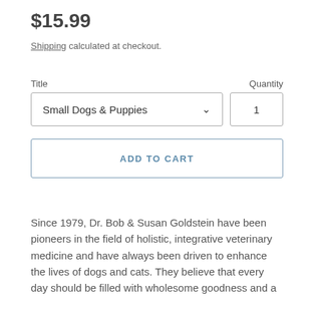$15.99
Shipping calculated at checkout.
Title
Quantity
Small Dogs & Puppies
1
ADD TO CART
Since 1979, Dr. Bob & Susan Goldstein have been pioneers in the field of holistic, integrative veterinary medicine and have always been driven to enhance the lives of dogs and cats. They believe that every day should be filled with wholesome goodness and a